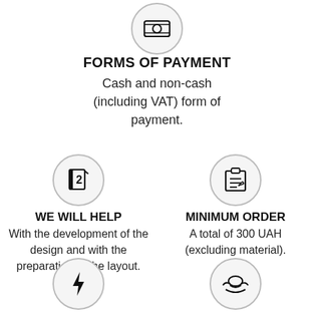[Figure (illustration): Circle icon with banknote/cash symbol at the top]
FORMS OF PAYMENT
Cash and non-cash (including VAT) form of payment.
[Figure (illustration): Circle icon with a question-mark book/design tool symbol]
WE WILL HELP
With the development of the design and with the preparation of the layout.
[Figure (illustration): Circle icon with a clipboard/checklist symbol]
MINIMUM ORDER
A total of 300 UAH (excluding material).
[Figure (illustration): Circle icon with a lightning bolt symbol]
QUICK CALCULATION
[Figure (illustration): Circle icon with a handshake/loyalty symbol]
LOYALTY PROGRAM